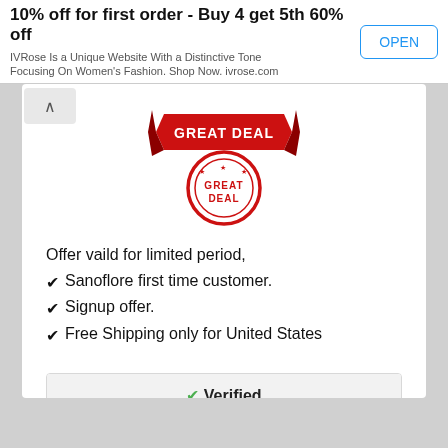10% off for first order - Buy 4 get 5th 60% off
IVRose Is a Unique Website With a Distinctive Tone Focusing On Women's Fashion. Shop Now. ivrose.com
[Figure (illustration): Red GREAT DEAL stamp/badge graphic with ribbon banner on top and circular seal below]
Offer vaild for limited period,
Sanoflore first time customer.
Signup offer.
Free Shipping only for United States
✔ Verified
0 Comments
Get Deal